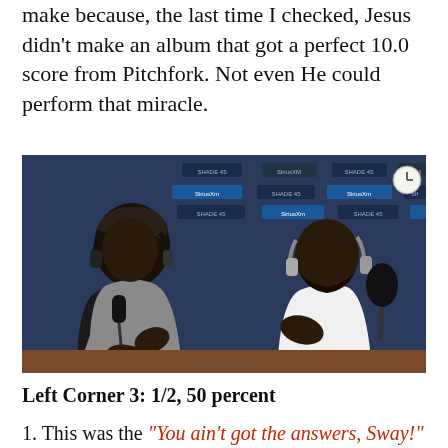make because, the last time I checked, Jesus didn't make an album that got a perfect 10.0 score from Pitchfork. Not even He could perform that miracle.
[Figure (photo): Two men sitting at microphones in a radio studio with a SiriusXM Shade 45 banner in the background. The man on the left wears a dark head wrap and headphones over a grey shirt. The man on the right wears a white shirt with headphones and is gesturing with his hands while speaking.]
Left Corner 3: 1/2, 50 percent
1. This was the "You ain't got the answers, Sway!" radio